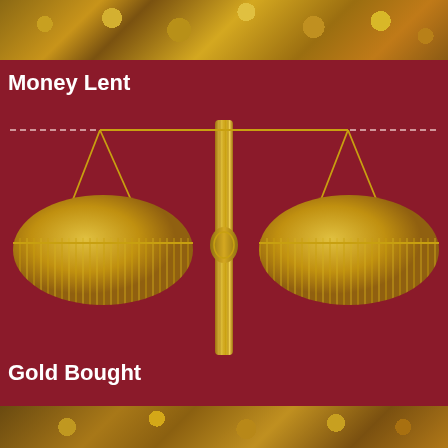[Figure (photo): Top strip showing gold coins and metal objects on a dark background]
Money Lent
[Figure (illustration): Gold balance scales (scales of justice) on a dark red/crimson background, with a dashed horizontal line across the top of the scales. The central vertical pole is ornate gold, with two equal pans hanging from chains.]
Gold Bought
[Figure (photo): Bottom strip showing gold coins, figurines and metal objects]